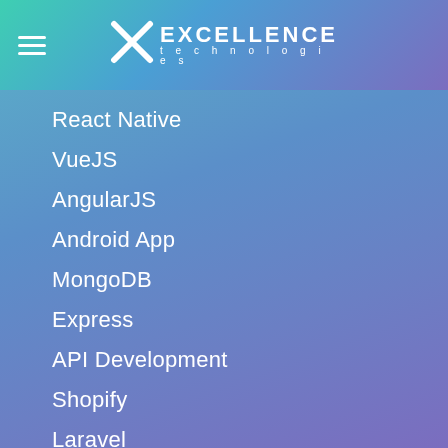Excellence Technologies
React Native
VueJS
AngularJS
Android App
MongoDB
Express
API Development
Shopify
Laravel
Flask
Django
NodeJS